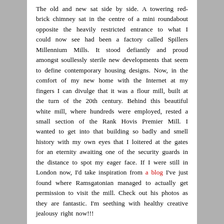The old and new sat side by side. A towering red-brick chimney sat in the centre of a mini roundabout opposite the heavily restricted entrance to what I could now see had been a factory called Spillers Millennium Mills. It stood defiantly and proud amongst soullessly sterile new developments that seem to define contemporary housing designs. Now, in the comfort of my new home with the Internet at my fingers I can divulge that it was a flour mill, built at the turn of the 20th century. Behind this beautiful white mill, where hundreds were employed, rested a small section of the Rank Hovis Premier Mill. I wanted to get into that building so badly and smell history with my own eyes that I loitered at the gates for an eternity awaiting one of the security guards in the distance to spot my eager face. If I were still in London now, I'd take inspiration from a blog I've just found where Ramsgatonian managed to actually get permission to visit the mill. Check out his photos as they are fantastic. I'm seething with healthy creative jealousy right now!!!
[Figure (photo): Three thumbnail photos at the bottom of the page]